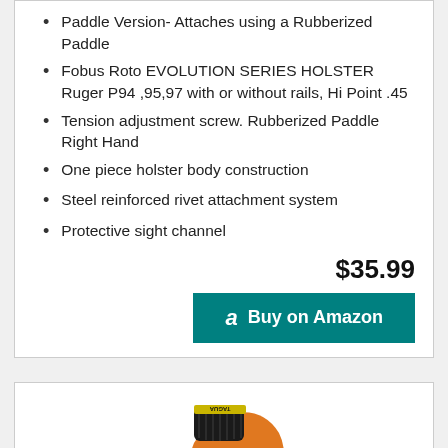Paddle Version- Attaches using a Rubberized Paddle
Fobus Roto EVOLUTION SERIES HOLSTER Ruger P94 ,95,97 with or without rails, Hi Point .45
Tension adjustment screw. Rubberized Paddle Right Hand
One piece holster body construction
Steel reinforced rivet attachment system
Protective sight channel
$35.99
Buy on Amazon
[Figure (photo): Orange and black holster device (Tagua brand) shown from the side, partially visible at bottom of page]